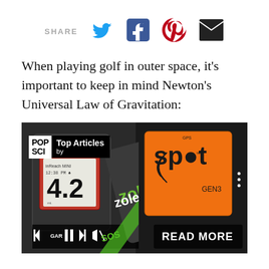[Figure (infographic): Share bar with SHARE label followed by Twitter bird icon (blue), Facebook icon (dark blue square), Pinterest icon (red circle with P), and email icon (dark envelope)]
When playing golf in outer space, it's important to keep in mind Newton's Universal Law of Gravitation:
[Figure (screenshot): Photo of GPS/satellite communicator devices: Garmin inReach MINI showing 4.2, Zoleo SOS device in green, and SPOT GEN3 orange tracker. Overlay shows POP SCI logo, Top Articles by [publisher], media player controls, and READ MORE button.]